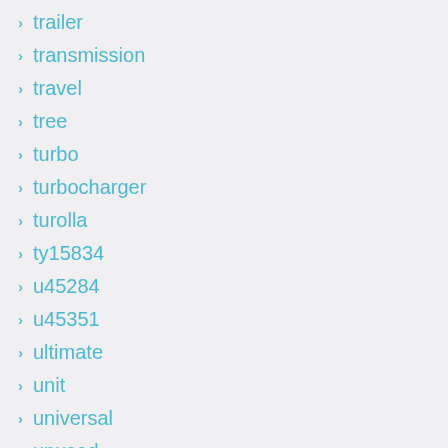trailer
transmission
travel
tree
turbo
turbocharger
turolla
ty15834
u45284
u45351
ultimate
unit
universal
unused
upper
used
valeo
valve
various